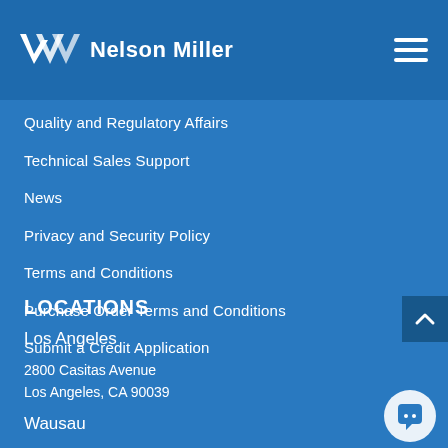Nelson Miller
Quality and Regulatory Affairs
Technical Sales Support
News
Privacy and Security Policy
Terms and Conditions
Purchase Order Terms and Conditions
Submit a Credit Application
LOCATIONS
Los Angeles
2800 Casitas Avenue
Los Angeles, CA 90039
Wausau